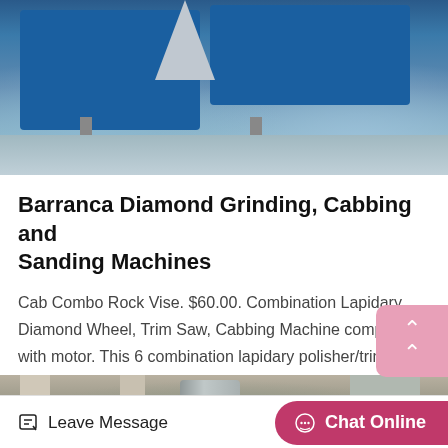[Figure (photo): Industrial machine (blue grinding/cabbing machine) on a factory floor with reflective grey surface]
Barranca Diamond Grinding, Cabbing and Sanding Machines
Cab Combo Rock Vise. $60.00. Combination Lapidary Diamond Wheel, Trim Saw, Cabbing Machine complete with motor. This 6 combination lapidary polisher/trim saw/grinder has three stainless steel valves that provide independent…
Get Price
[Figure (photo): Industrial silos and pillars in a warehouse or factory setting]
Leave Message
Chat Online